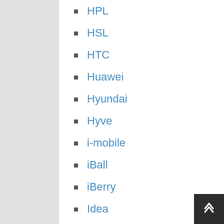HPL
HSL
HTC
Huawei
Hyundai
Hyve
i-mobile
iBall
iBerry
Idea
iKall
Infinix
InFocus
Intex
iO...